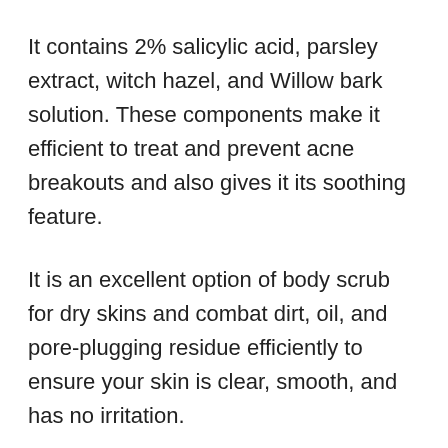It contains 2% salicylic acid, parsley extract, witch hazel, and Willow bark solution. These components make it efficient to treat and prevent acne breakouts and also gives it its soothing feature.
It is an excellent option of body scrub for dry skins and combat dirt, oil, and pore-plugging residue efficiently to ensure your skin is clear, smooth, and has no irritation.
It is oil-free, 100% vegan, and contains no toxic chemicals like paraben, phthalates, or synthetic fragrance. It is also cruelty-free and helps ensure